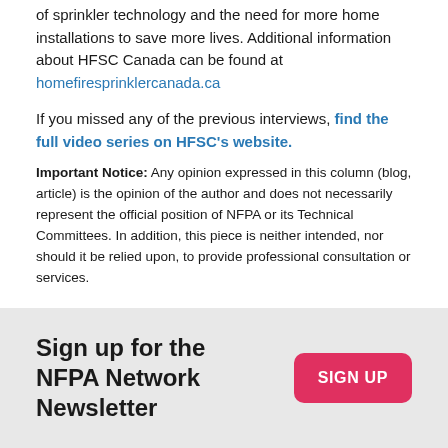of sprinkler technology and the need for more home installations to save more lives. Additional information about HFSC Canada can be found at homefiresprinklercanada.ca
If you missed any of the previous interviews, find the full video series on HFSC's website.
Important Notice: Any opinion expressed in this column (blog, article) is the opinion of the author and does not necessarily represent the official position of NFPA or its Technical Committees. In addition, this piece is neither intended, nor should it be relied upon, to provide professional consultation or services.
TOPICS:   Fire Protection Systems, Home Fire Sprinkler Initiative, Emergency Response
Sign up for the NFPA Network Newsletter
SIGN UP